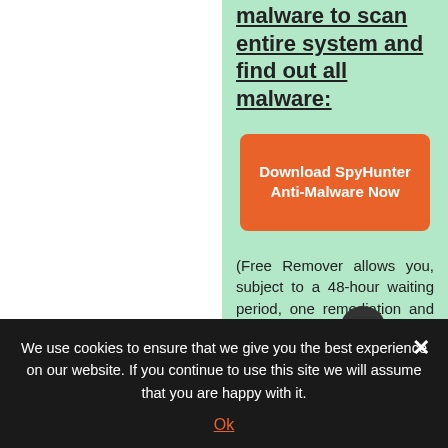malware to scan entire system and find out all malware:
[Figure (other): Orange button labeled 'Download SpyHunter Anti-Malware Now']
(Free Remover allows you, subject to a 48-hour waiting period, one remediation and removal for results found. Read its EULA, Privacy Policy. See
We use cookies to ensure that we give you the best experience on our website. If you continue to use this site we will assume that you are happy with it.
Ok